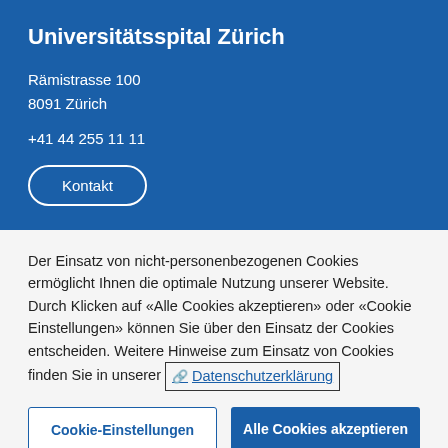Universitätsspital Zürich
Rämistrasse 100
8091 Zürich
+41 44 255 11 11
Kontakt
Der Einsatz von nicht-personenbezogenen Cookies ermöglicht Ihnen die optimale Nutzung unserer Website. Durch Klicken auf «Alle Cookies akzeptieren» oder «Cookie Einstellungen» können Sie über den Einsatz der Cookies entscheiden. Weitere Hinweise zum Einsatz von Cookies finden Sie in unserer Datenschutzerklärung
Cookie-Einstellungen
Alle Cookies akzeptieren